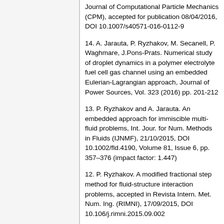Journal of Computational Particle Mechanics (CPM), accepted for publication 08/04/2016, DOI 10.1007/s40571-016-0112-9
14. A. Jarauta, P. Ryzhakov, M. Secanell, P. Waghmare, J.Pons-Prats. Numerical study of droplet dynamics in a polymer electrolyte fuel cell gas channel using an embedded Eulerian-Lagrangian approach, Journal of Power Sources, Vol. 323 (2016) pp. 201-212
13. P. Ryzhakov and A. Jarauta. An embedded approach for immiscible multi-fluid problems, Int. Jour. for Num. Methods in Fluids (IJNMF), 21/10/2015, DOI 10.1002/fld.4190, Volume 81, Issue 6, pp. 357–376 (impact factor: 1.447)
12. P. Ryzhakov. A modified fractional step method for fluid-structure interaction problems, accepted in Revista Intern. Met. Num. Ing. (RIMNI), 17/09/2015, DOI 10.106/j.rimni.2015.09.002
11. A. Jarauta, M. Secanell, J. Pons-Prats, P. Ryzhakov, S. Idelsohn, E. Oñate. A semi-analytical model for droplet dynamics on the